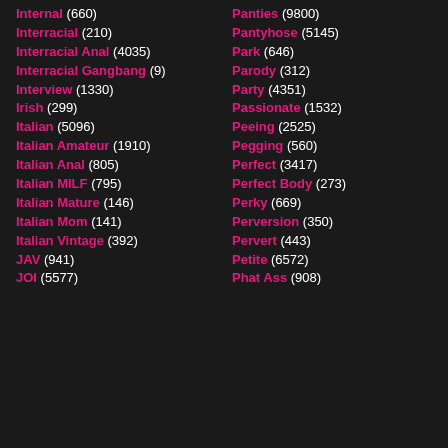Internal (660)
Interracial (210)
Interracial Anal (4035)
Interracial Gangbang (9)
Interview (1330)
Irish (299)
Italian (5096)
Italian Amateur (1910)
Italian Anal (805)
Italian MILF (795)
Italian Mature (146)
Italian Mom (141)
Italian Vintage (392)
JAV (941)
JOI (5577)
Panties (9800)
Pantyhose (5145)
Park (646)
Parody (312)
Party (4351)
Passionate (1532)
Peeing (2525)
Pegging (560)
Perfect (3417)
Perfect Body (273)
Perky (669)
Perversion (350)
Pervert (443)
Petite (6572)
Phat Ass (908)